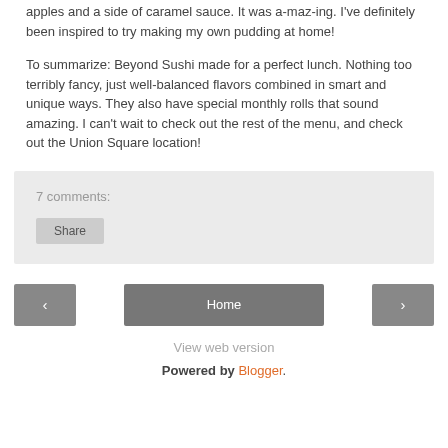apples and a side of caramel sauce. It was a-maz-ing. I've definitely been inspired to try making my own pudding at home!
To summarize: Beyond Sushi made for a perfect lunch. Nothing too terribly fancy, just well-balanced flavors combined in smart and unique ways. They also have special monthly rolls that sound amazing. I can't wait to check out the rest of the menu, and check out the Union Square location!
7 comments:
Share
‹
Home
›
View web version
Powered by Blogger.